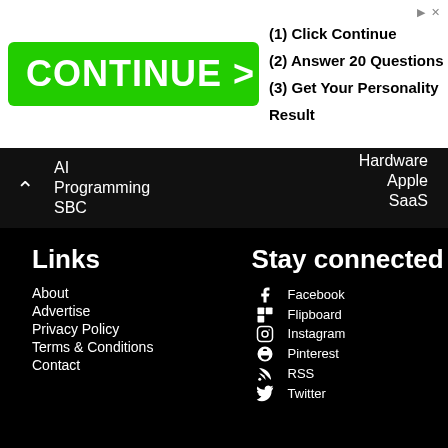[Figure (other): Advertisement banner with green CONTINUE > button and text: (1) Click Continue, (2) Answer 20 Questions, (3) Get Your Personality Result]
AI
Hardware
Programming
Apple
SBC
SaaS
Links
About
Advertise
Privacy Policy
Terms & Conditions
Contact
Stay connected
Facebook
Flipboard
Instagram
Pinterest
RSS
Twitter